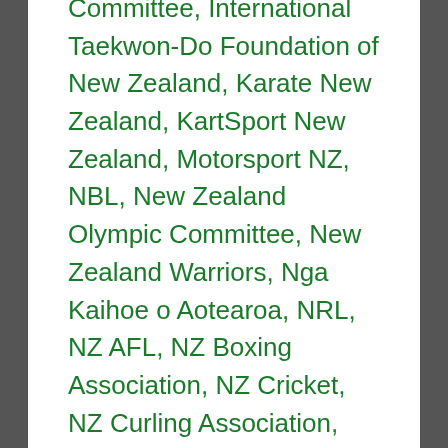Committee, International Taekwon-Do Foundation of New Zealand, Karate New Zealand, KartSport New Zealand, Motorsport NZ, NBL, New Zealand Olympic Committee, New Zealand Warriors, Nga Kaihoe o Aotearoa, NRL, NZ AFL, NZ Boxing Association, NZ Cricket, NZ Curling Association, NZ Football, NZ Hang Gliding & Paragliding Association, NZ Kung Fu Wushu Federation, NZ Pony Clubs Association, NZ Rugby League, NZ Rugby Union, Paralympics New Zealand, Rowing New Zealand, Rugby World Cup, Snow Sports New Zealand, Softball New Zealand, Special Olympics New Zealand, Sport and Recreation New Zealand, Squash New Zealand, Super League, Surf Life Saving